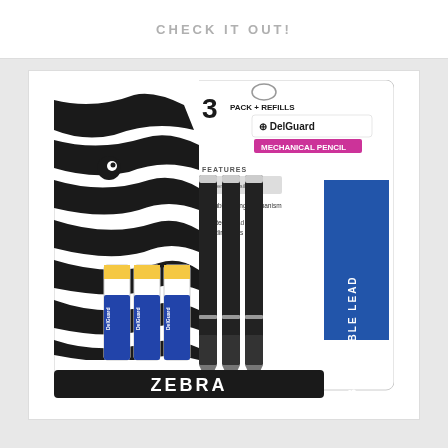CHECK IT OUT!
[Figure (photo): Zebra DelGuard Mechanical Pencil 3-pack with refills product packaging. Shows three black mechanical pencils and three lead refill tubes with blue labels, against a black and white zebra stripe background. Package reads '3 PACK + REFILLS', 'DelGuard MECHANICAL PENCIL', 'UNBREAKABLE LEAD', and 'ZEBRA' in a black bar at the bottom.]